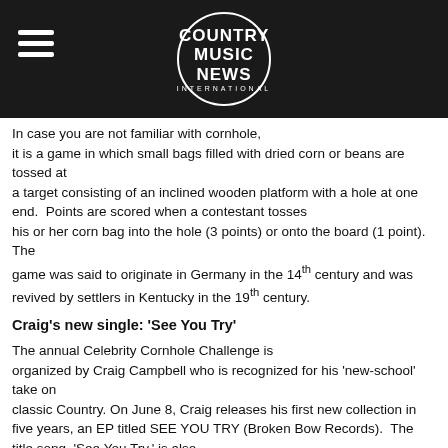COUNTRY MUSIC NEWS INTERNATIONAL
In case you are not familiar with cornhole, it is a game in which small bags filled with dried corn or beans are tossed at a target consisting of an inclined wooden platform with a hole at one end.  Points are scored when a contestant tosses his or her corn bag into the hole (3 points) or onto the board (1 point). The game was said to originate in Germany in the 14th century and was revived by settlers in Kentucky in the 19th century.
Craig's new single: 'See You Try'
The annual Celebrity Cornhole Challenge is organized by Craig Campbell who is recognized for his 'new-school' take on classic Country. On June 8, Craig releases his first new collection in five years, an EP titled SEE YOU TRY (Broken Bow Records).  The title song, 'See You Try,' is also Craig's new single, written by Tyler Hubbard (Florida Georgia Line), Bart Butler, James McNair and Jordan Schmidt.